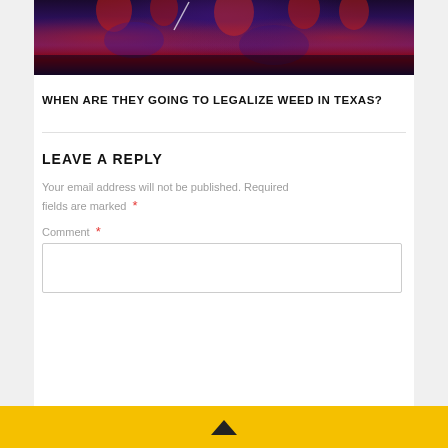[Figure (photo): Dark concert or event photo with red and blue/purple hues, showing figures or crowd with dramatic lighting]
WHEN ARE THEY GOING TO LEGALIZE WEED IN TEXAS?
LEAVE A REPLY
Your email address will not be published. Required fields are marked *
Comment *
▲